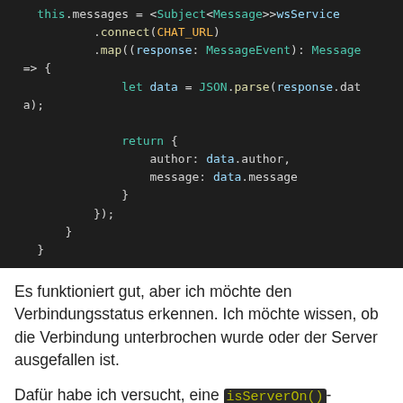[Figure (screenshot): Dark-themed code editor showing TypeScript/JavaScript code with syntax highlighting. Code shows: this.messages = <Subject<Message>>wsService .connect(CHAT_URL) .map((response: MessageEvent): Message => { let data = JSON.parse(response.dat a); return { author: data.author, message: data.message } }); } }]
Es funktioniert gut, aber ich möchte den Verbindungsstatus erkennen. Ich möchte wissen, ob die Verbindung unterbrochen wurde oder der Server ausgefallen ist.
Dafür habe ich versucht, eine isServerOn()-Funktion in der WebsocketService-Klasse folgendermaßen zu